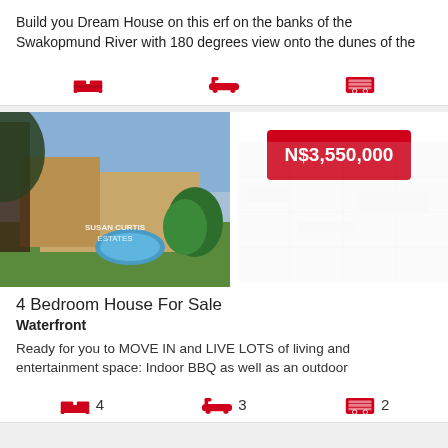Build you Dream House on this erf on the banks of the Swakopmund River with 180 degrees view onto the dunes of the
[Figure (infographic): Three red icons: bed, bathtub, garage]
[Figure (photo): Aerial view of a house with pool and garden - Susan Curtis Estates watermark]
N$3,550,000
4 Bedroom House For Sale
Waterfront
Ready for you to MOVE IN and LIVE LOTS of living and entertainment space: Indoor BBQ as well as an outdoor
[Figure (infographic): Three red icons: bed (4), bathtub (3), garage (2)]